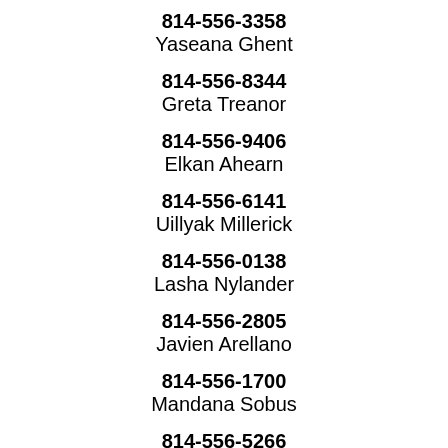814-556-3358
Yaseana Ghent
814-556-8344
Greta Treanor
814-556-9406
Elkan Ahearn
814-556-6141
Uillyak Millerick
814-556-0138
Lasha Nylander
814-556-2805
Javien Arellano
814-556-1700
Mandana Sobus
814-556-5266
Label Geiling
814-556-0760
Varana Sippy